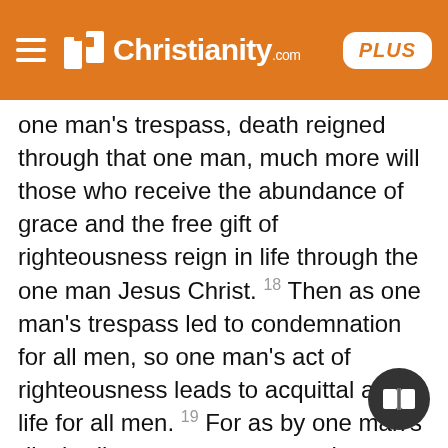Christianity.com PLUS
one man's trespass, death reigned through that one man, much more will those who receive the abundance of grace and the free gift of righteousness reign in life through the one man Jesus Christ. 18 Then as one man's trespass led to condemnation for all men, so one man's act of righteousness leads to acquittal and life for all men. 19 For as by one man's disobedience many were made sinners, so by one man's obedience many will be made righteous. 20 Law came in, to increase the trespass; but where sin increased, grace abounded all the more, 21 so that, as sin reigned in death, grace also might reign